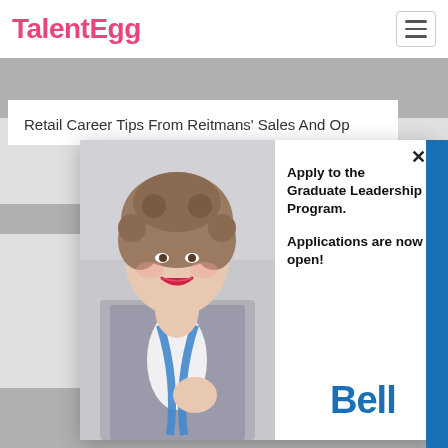TalentEgg
Retail Career Tips From Reitmans' Sales And Op
[Figure (photo): Young woman with curly hair wearing a plaid blazer and blue Bell-branded lanyard, smiling at the camera]
Apply to the Graduate Leadership Program.

Applications are now open!
[Figure (logo): Bell logo in blue text]